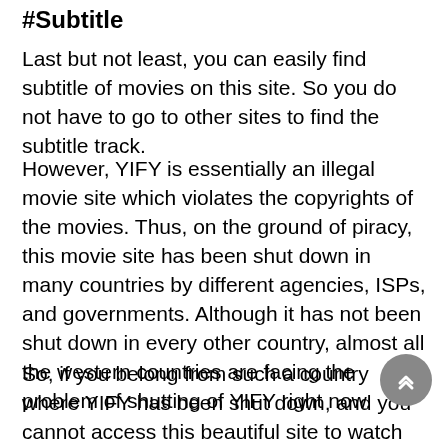#Subtitle
Last but not least, you can easily find subtitle of movies on this site. So you do not have to go to other sites to find the subtitle track.
However, YIFY is essentially an illegal movie site which violates the copyrights of the movies. Thus, on the ground of piracy, this movie site has been shut down in many countries by different agencies, ISPs, and governments. Although it has not been shut down in every other country, almost all the western countries are facing the problem of shutting of YIFY right now.
So, if you belong from such a country where YIFY has been shut down, and you cannot access this beautiful site to watch movies easily, we may have some solutions for you. Proxy sites and mirror sites!